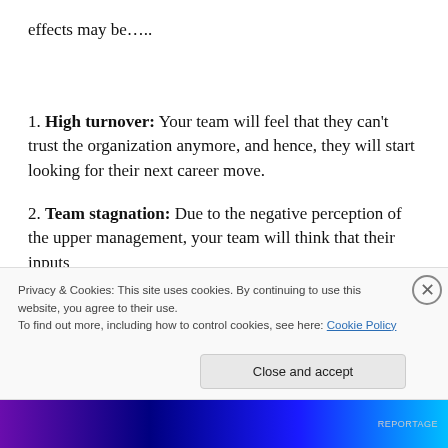effects may be…..
1. High turnover: Your team will feel that they can't trust the organization anymore, and hence, they will start looking for their next career move.
2. Team stagnation: Due to the negative perception of the upper management, your team will think that their inputs
Privacy & Cookies: This site uses cookies. By continuing to use this website, you agree to their use. To find out more, including how to control cookies, see here: Cookie Policy
Close and accept